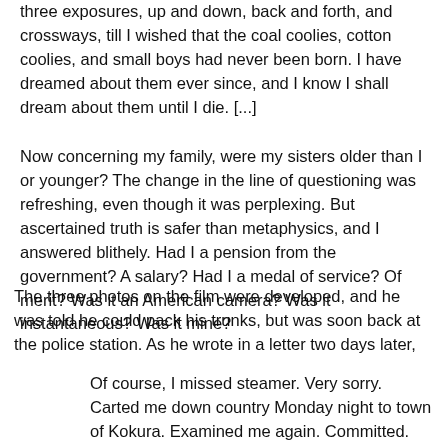three exposures, up and down, back and forth, and crossways, till I wished that the coal coolies, cotton coolies, and small boys had never been born. I have dreamed about them ever since, and I know I shall dream about them until I die. [...]
Now concerning my family, were my sisters older than I or younger? The change in the line of questioning was refreshing, even though it was perplexing. But ascertained truth is safer than metaphysics, and I answered blithely. Had I a pension from the government? A salary? Had I a medal of service? Of merit? Was it an American camera? Was it instantaneous? Was it mine?
The three photos on the film were developed, and he was told he could pack his trunks, but was soon back at the police station. As he wrote in a letter two days later,
Of course, I missed steamer. Very sorry. Carted me down country Monday night to town of Kokura. Examined me again. Committed. Tried Tuesday. Found guilty. Fined five yen, and